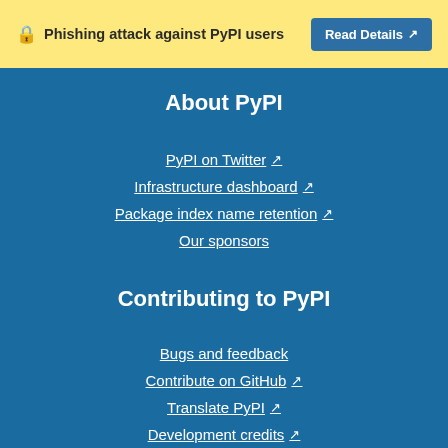🔒 Phishing attack against PyPI users  Read Details ↗
About PyPI
PyPI on Twitter ↗
Infrastructure dashboard ↗
Package index name retention ↗
Our sponsors
Contributing to PyPI
Bugs and feedback
Contribute on GitHub ↗
Translate PyPI ↗
Development credits ↗